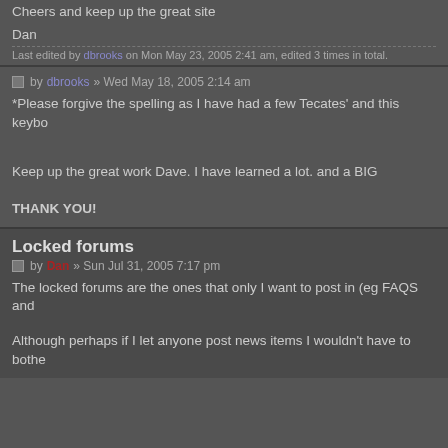Cheers and keep up the great site
Dan
Last edited by dbrooks on Mon May 23, 2005 2:41 am, edited 3 times in total.
by dbrooks » Wed May 18, 2005 2:14 am
*Please forgive the spelling as I have had a few Tecates' and this keyboa
Keep up the great work Dave. I have learned a lot. and a BIG
THANK YOU!
Locked forums
by Dan » Sun Jul 31, 2005 7:17 pm
The locked forums are the ones that only I want to post in (eg FAQS and
Although perhaps if I let anyone post news items I wouldn't have to bothe